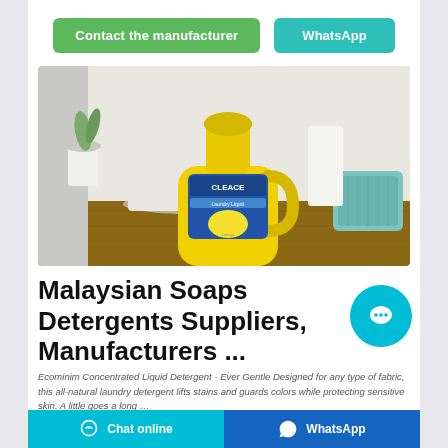[Figure (other): Two green buttons: 'Contact the manufacturer' and 'WhatsApp']
[Figure (photo): Yellow plastic laundry detergent bottle labeled 'Cleace Laundry Liquid - Lemon' sitting on a wooden surface with white cloth and a blue basket in the background]
Malaysian Soaps Detergents Suppliers, Manufacturers ...
Ecominim Concentrated Liquid Detergent - Ever Gentle Designed for any type of fabric, this all-natural laundry detergent lifts stains and guards colors while protecting sensitive skin. A little goes a long …
[Figure (other): Teal chat online button and blue WhatsApp button in footer bar]